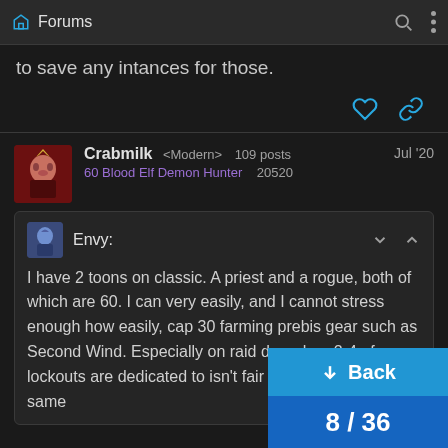Forums
to save any intances for those.
Crabmilk <Modern> 109 posts  60 Blood Elf Demon Hunter  20520  Jul '20
Envy:
I have 2 toons on classic. A priest and a rogue, both of which are 60. I can very easily, and I cannot stress enough how easily, cap 30 farming prebis gear such as Second Wind. Especially on raid day when 2-4 of my lockouts are dedicated to isn't fair to players in the same
↓ Back
8 / 36